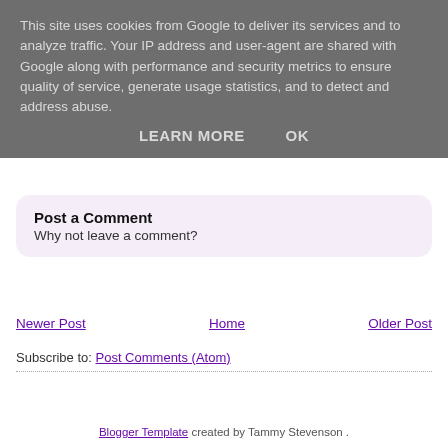This site uses cookies from Google to deliver its services and to analyze traffic. Your IP address and user-agent are shared with Google along with performance and security metrics to ensure quality of service, generate usage statistics, and to detect and address abuse.
LEARN MORE   OK
Post a Comment
Why not leave a comment?
Newer Post   Home   Older Post
Subscribe to: Post Comments (Atom)
Blogger Template created by Tammy Stevenson .